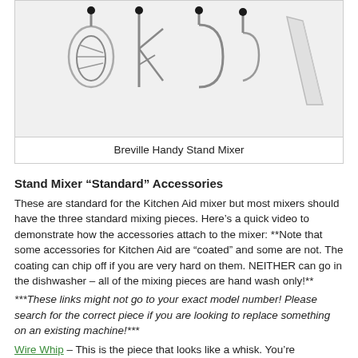[Figure (photo): Photo of Breville Handy Stand Mixer accessories including beaters, dough hooks, and a spatula/scraper on a light gray background]
Breville Handy Stand Mixer
Stand Mixer “Standard” Accessories
These are standard for the Kitchen Aid mixer but most mixers should have the three standard mixing pieces. Here’s a quick video to demonstrate how the accessories attach to the mixer: **Note that some accessories for Kitchen Aid are “coated” and some are not. The coating can chip off if you are very hard on them. NEITHER can go in the dishwasher – all of the mixing pieces are hand wash only!**
***These links might not go to your exact model number! Please search for the correct piece if you are looking to replace something on an existing machine!***
Wire Whip – This is the piece that looks like a whisk. You’re